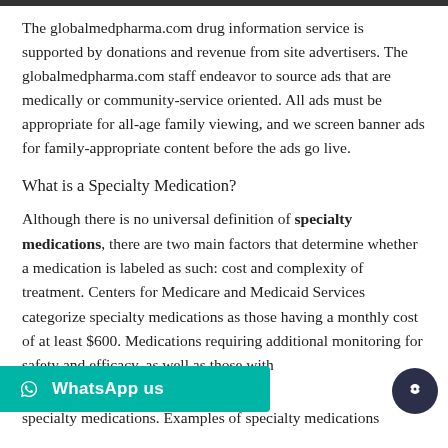The globalmedpharma.com drug information service is supported by donations and revenue from site advertisers. The globalmedpharma.com staff endeavor to source ads that are medically or community-service oriented. All ads must be appropriate for all-age family viewing, and we screen banner ads for family-appropriate content before the ads go live.
What is a Specialty Medication?
Although there is no universal definition of specialty medications, there are two main factors that determine whether a medication is labeled as such: cost and complexity of treatment. Centers for Medicare and Medicaid Services categorize specialty medications as those having a monthly cost of at least $600. Medications requiring additional monitoring for safety and efficacy, as well as those with complex administration routes, may also be considered specialty medications. Examples of specialty medications